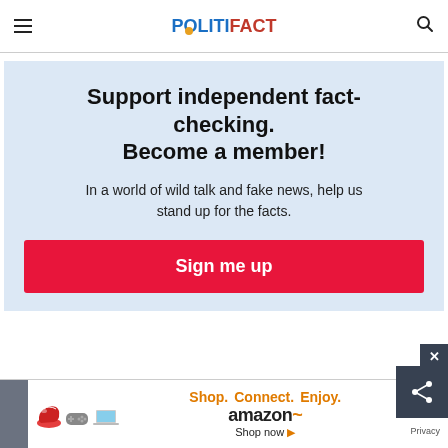POLITIFACT
Support independent fact-checking. Become a member!
In a world of wild talk and fake news, help us stand up for the facts.
Sign me up
[Figure (screenshot): Amazon advertisement banner with text: Shop. Connect. Enjoy. amazon Shop now. Shows images of shoe, game controller, and laptop.]